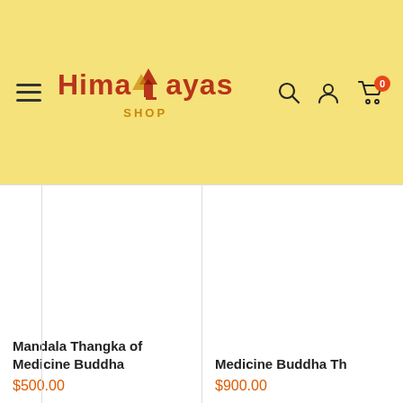Himalayas Shop - Navigation header with logo, hamburger menu, search, account, and cart icons
[Figure (screenshot): Himalaya Shop logo with mountain icon and red text]
Mandala Thangka of Medicine Buddha
$500.00
Medicine Buddha Th...
$900.00